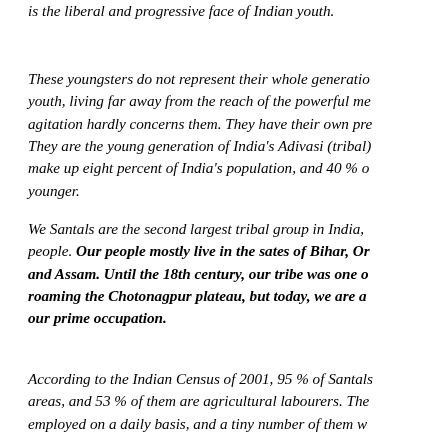is the liberal and progressive face of Indian youth.
These youngsters do not represent their whole generation. youth, living far away from the reach of the powerful me agitation hardly concerns them. They have their own pre They are the young generation of India's Adivasi (tribal) make up eight percent of India's population, and 40 % o younger.
We Santals are the second largest tribal group in India, people. Our people mostly live in the sates of Bihar, Or and Assam. Until the 18th century, our tribe was one o roaming the Chotonagpur plateau, but today, we are a our prime occupation.
According to the Indian Census of 2001, 95 % of Santals areas, and 53 % of them are agricultural labourers. The employed on a daily basis, and a tiny number of them wo